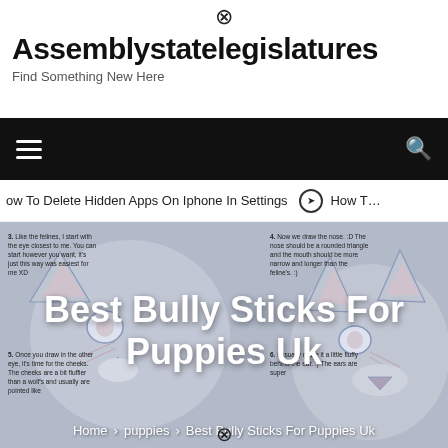Assemblystatelegislatures
Find Something New Here
[Figure (screenshot): Black navigation bar with hamburger menu icon on left and search icon on right]
ow To Delete Hidden Apps On Iphone In Settings  ❯  How To
[Figure (illustration): Anime/cartoon fox/canine head drawing tutorial with step-by-step instructions overlaid, with white bold title 'Best Bully Sticks For Puppies Uk' and breadcrumb navigation at bottom reading 'Home > puppies > Best Bully Sticks For Puppies Uk']
Best Bully Sticks For Puppies Uk
Home > puppies > Best Bully Sticks For Puppies Uk